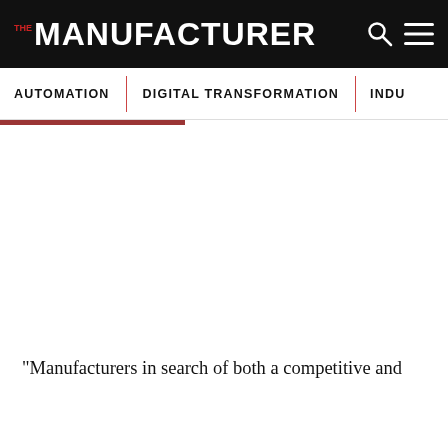THE MANUFACTURER
AUTOMATION | DIGITAL TRANSFORMATION | INDU
“Manufacturers in search of both a competitive and